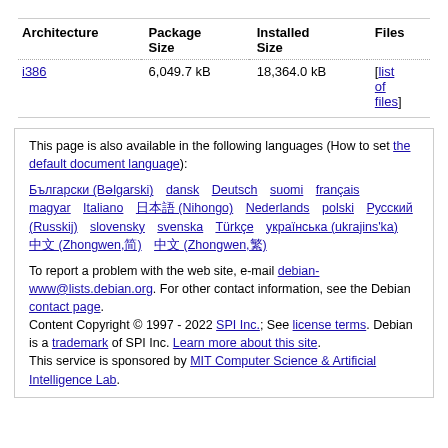| Architecture | Package Size | Installed Size | Files |
| --- | --- | --- | --- |
| i386 | 6,049.7 kB | 18,364.0 kB | [list of files] |
This page is also available in the following languages (How to set the default document language): Български (Bəlgarski) dansk Deutsch suomi français magyar Italiano 日本語 (Nihongo) Nederlands polski Русский (Russkij) slovensky svenska Türkçe українська (ukrajins'ka) 中文 (Zhongwen,简) 中文 (Zhongwen,繁)
To report a problem with the web site, e-mail debian-www@lists.debian.org. For other contact information, see the Debian contact page.
Content Copyright © 1997 - 2022 SPI Inc.; See license terms. Debian is a trademark of SPI Inc. Learn more about this site.
This service is sponsored by MIT Computer Science & Artificial Intelligence Lab.